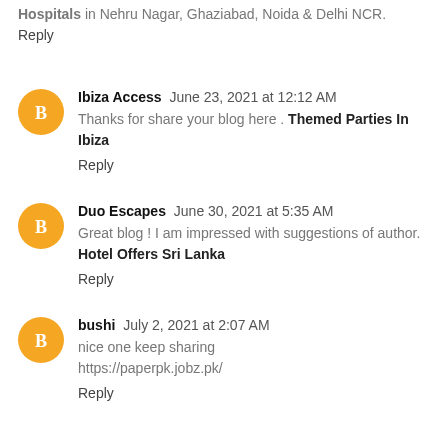Hospitals in Nehru Nagar, Ghaziabad, Noida & Delhi NCR.
Reply
Ibiza Access  June 23, 2021 at 12:12 AM
Thanks for share your blog here . Themed Parties In Ibiza
Reply
Duo Escapes  June 30, 2021 at 5:35 AM
Great blog ! I am impressed with suggestions of author. Hotel Offers Sri Lanka
Reply
bushi  July 2, 2021 at 2:07 AM
nice one keep sharing
https://paperpk.jobz.pk/
Reply